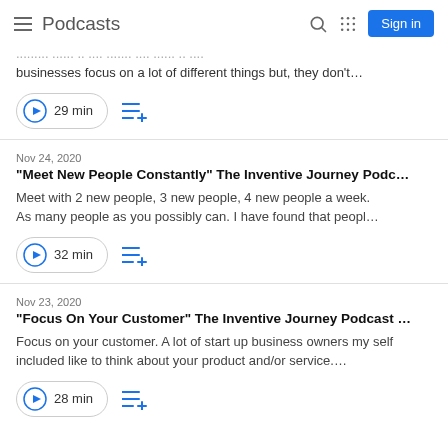Podcasts
...Learn how to sell. A million lot of people who want to start businesses focus on a lot of different things but, they don't...
29 min
Nov 24, 2020
"Meet New People Constantly" The Inventive Journey Podc...
Meet with 2 new people, 3 new people, 4 new people a week. As many people as you possibly can. I have found that peopl...
32 min
Nov 23, 2020
"Focus On Your Customer" The Inventive Journey Podcast ...
Focus on your customer. A lot of start up business owners my self included like to think about your product and/or service....
28 min